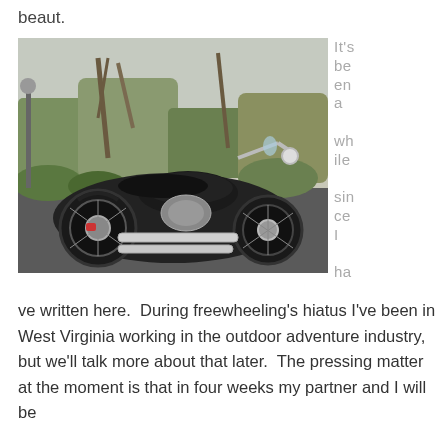beaut.
[Figure (photo): A black cruiser motorcycle (Honda Shadow style) parked on a dark driveway, with trees and bushes in the background. The motorcycle has chrome exhaust pipes and details.]
It's been a while since I have written here. During freewheeling's hiatus I've been in West Virginia working in the outdoor adventure industry, but we'll talk more about that later. The pressing matter at the moment is that in four weeks my partner and I will be
ve written here.  During freewheeling's hiatus I've been in West Virginia working in the outdoor adventure industry, but we'll talk more about that later.  The pressing matter at the moment is that in four weeks my partner and I will be